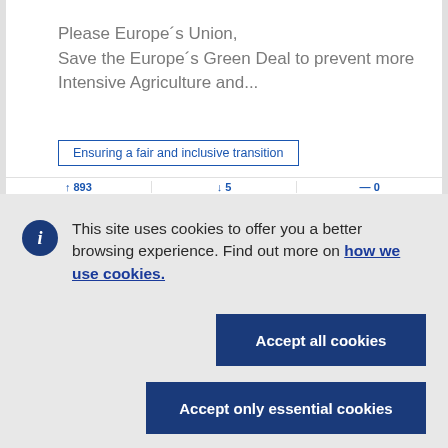Please Europe´s Union,
Save the Europe´s Green Deal to prevent more Intensive Agriculture and...
Ensuring a fair and inclusive transition
This site uses cookies to offer you a better browsing experience. Find out more on how we use cookies.
Accept all cookies
Accept only essential cookies